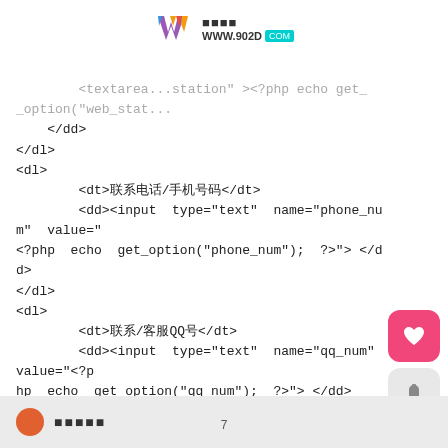[Figure (logo): Watermark logo with colorful W icon and www.902D.COM URL text]
</dd>
</dl>
<dl>
    <dt>联系电话/手机号码</dt>
    <dd><input type="text" name="phone_num" value="<?php echo get_option("phone_num"); ?>"> </dd>
</dl>
<dl>
    <dt>联系/客服QQ号</dt>
    <dd><input type="text" name="qq_num" value="<?p
hp echo get_option("qq_num"); ?>"> </dd>
</dl>
<dl>
    <dt>单页广告代码设置</dt>
    <dd>
        <textarea name="ad_single" ><?php echo get_
option("ad_single"); ?></textarea>
    </dd>
</dl>
7